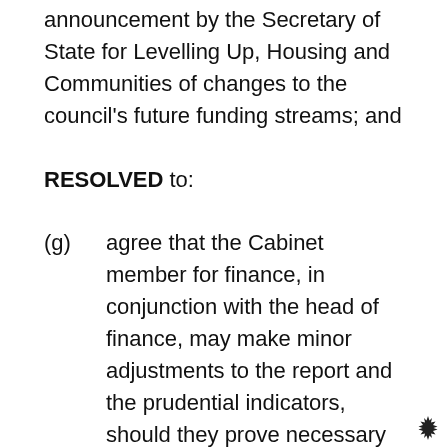announcement by the Secretary of State for Levelling Up, Housing and Communities of changes to the council's future funding streams; and
RESOLVED to:
(g)  agree that the Cabinet member for finance, in conjunction with the head of finance, may make minor adjustments to the report and the prudential indicators, should they prove necessary prior to its submission to Council